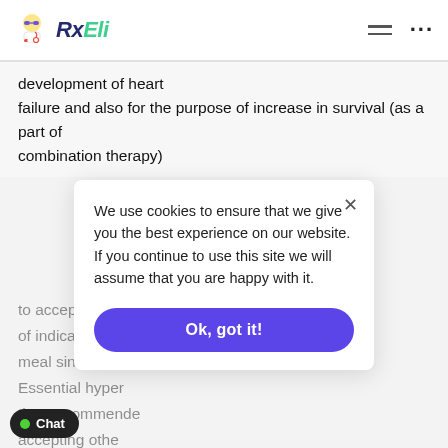RxEli
development of heart failure and also for the purpose of increase in survival (as a part of combination therapy)
to accept the R... e of indications o... of meal since foo... Essential hyper... the Recommende... accepting othe... maintenance d... pressure it is p... apeutic effect is insufficient, it is necessary to
We use cookies to ensure that we give you the best experience on our website. If you continue to use this site we will assume that you are happy with it.